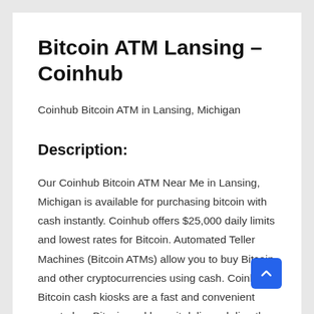Bitcoin ATM Lansing – Coinhub
Coinhub Bitcoin ATM in Lansing, Michigan
Description:
Our Coinhub Bitcoin ATM Near Me in Lansing, Michigan is available for purchasing bitcoin with cash instantly. Coinhub offers $25,000 daily limits and lowest rates for Bitcoin. Automated Teller Machines (Bitcoin ATMs) allow you to buy Bitcoin and other cryptocurrencies using cash. Coinhub's Bitcoin cash kiosks are a fast and convenient way to buy Bitcoin and have it delivered directly to your wallet in minutes. Coinhub Bitcoin machines are easy to use and allow